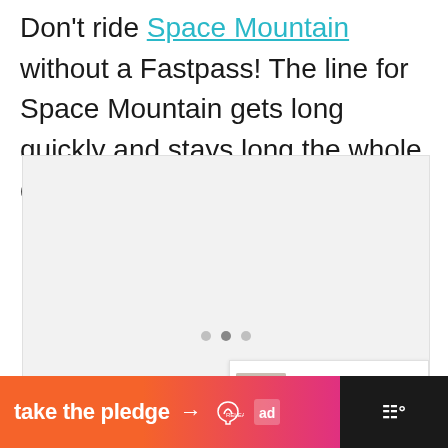Don't ride Space Mountain without a Fastpass! The line for Space Mountain gets long quickly and stays long the whole day.
[Figure (screenshot): Image carousel placeholder with heart and share buttons, dots navigation, and a 'What's Next' card showing 'Cheap, Fast & Easy DIY...']
[Figure (infographic): Bottom advertisement banner: 'take the pledge' with arrow, Release logo and ad icon on orange-to-pink gradient, with dark background and 'w' logo on the right]